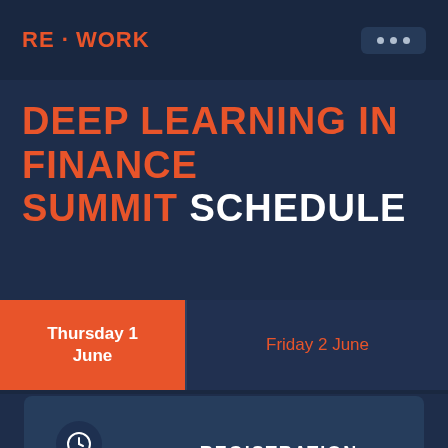RE·WORK
DEEP LEARNING IN FINANCE SUMMIT SCHEDULE
Thursday 1 June
Friday 2 June
08:30 REGISTRATION